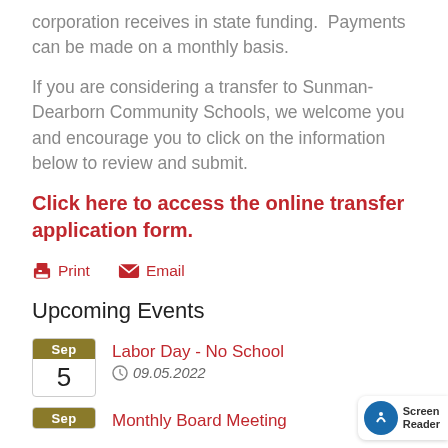corporation receives in state funding.  Payments can be made on a monthly basis.
If you are considering a transfer to Sunman-Dearborn Community Schools, we welcome you and encourage you to click on the information below to review and submit.
Click here to access the online transfer application form.
Print   Email
Upcoming Events
Labor Day - No School — Sep 5 — 09.05.2022
Monthly Board Meeting — Sep